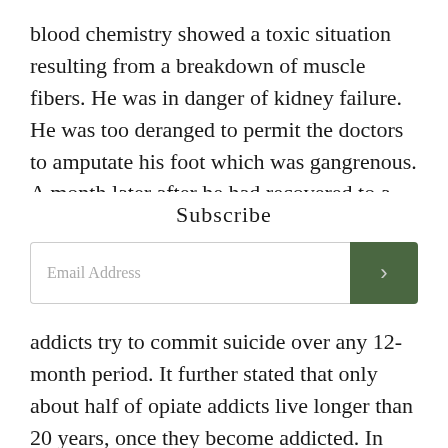blood chemistry showed a toxic situation resulting from a breakdown of muscle fibers. He was in danger of kidney failure. He was too deranged to permit the doctors to amputate his foot which was gangrenous. A month later after he had recovered to a more
Subscribe
Email Address
CLOSE
addicts try to commit suicide over any 12-month period. It further stated that only about half of opiate addicts live longer than 20 years, once they become addicted. In Russia, the life expectancy is seven years or less.